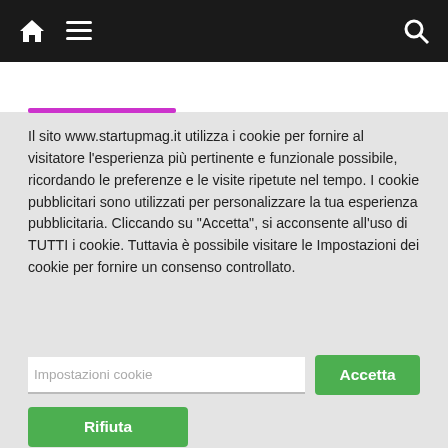Navigation bar with home, menu, and search icons
Il sito www.startupmag.it utilizza i cookie per fornire al visitatore l’esperienza più pertinente e funzionale possibile, ricordando le preferenze e le visite ripetute nel tempo. I cookie pubblicitari sono utilizzati per personalizzare la tua esperienza pubblicitaria. Cliccando su "Accetta", si acconsente all'uso di TUTTI i cookie. Tuttavia è possibile visitare le Impostazioni dei cookie per fornire un consenso controllato.
Impostazioni cookie
Accetta
Rifiuta